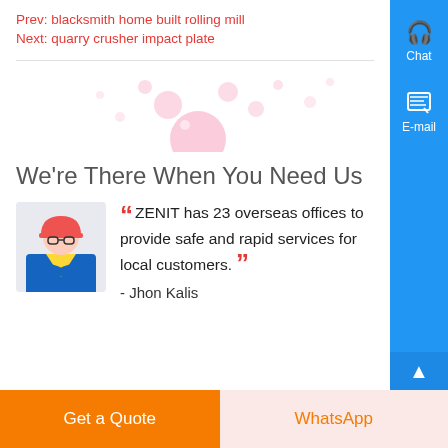Prev: blacksmith home built rolling mill
Next: quarry crusher impact plate
[Figure (illustration): Decorative bubbles/droplets graphic in pink/orange tones]
We're There When You Need Us
" ZENIT has 23 overseas offices to provide safe and rapid services for local customers. " - Jhon Kalis
[Figure (illustration): Blue right sidebar with Chat and E-mail buttons and upward arrow]
Get a Quote
WhatsApp